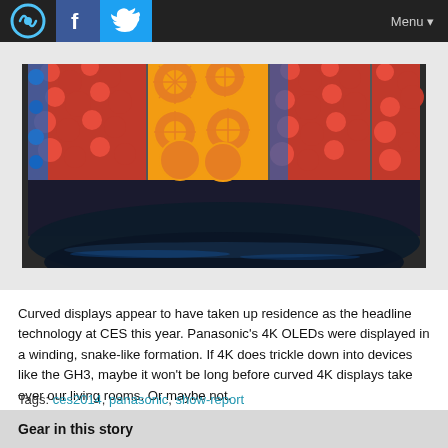Menu
[Figure (photo): Curved TV display showing fruit images (red berries, oranges, strawberries) arranged in a winding snake-like formation at CES]
Curved displays appear to have taken up residence as the headline technology at CES this year. Panasonic's 4K OLEDs were displayed in a winding, snake-like formation. If 4K does trickle down into devices like the GH3, maybe it won't be long before curved 4K displays take over our living rooms. Or maybe not.
Tags: ces2014, panasonic, show-report
Gear in this story